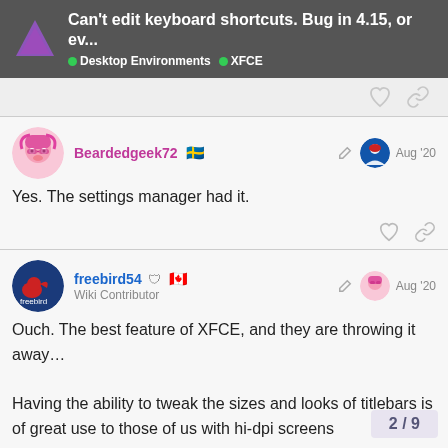Can't edit keyboard shortcuts. Bug in 4.15, or ev... | Desktop Environments | XFCE
Yes. The settings manager had it.
Ouch. The best feature of XFCE, and they are throwing it away…

Having the ability to tweak the sizes and looks of titlebars is of great use to those of us with hi-dpi screens and old eyes!
2 / 9